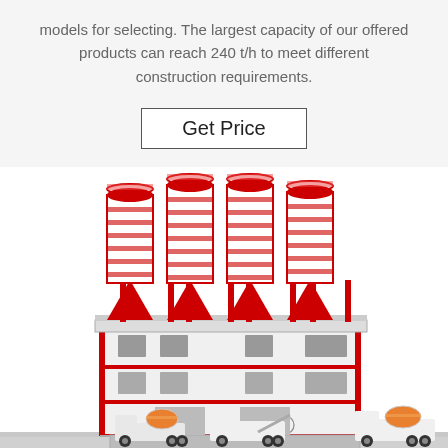models for selecting. The largest capacity of our offered products can reach 240 t/h to meet different construction requirements.
Get Price
[Figure (illustration): Industrial cement batching plant with four large red-and-white cylindrical silos mounted on a multi-story white building structure with red framing. Three cement mixer trucks are visible at ground level below the building.]